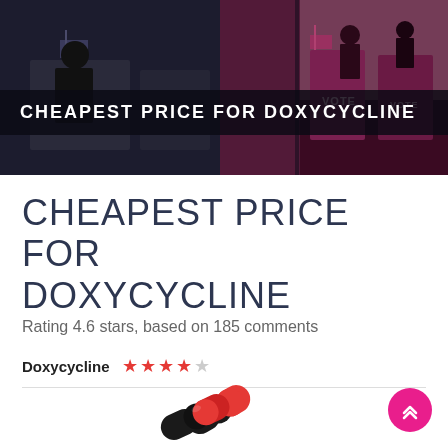[Figure (photo): Hero banner with voting booths and American flags, dark overlay, with pink/magenta tint on right side]
CHEAPEST PRICE FOR DOXYCYCLINE
CHEAPEST PRICE FOR DOXYCYCLINE
Rating 4.6 stars, based on 185 comments
Doxycycline ★★★★☆
[Figure (illustration): Two red and black capsule pills]
[Figure (other): Pink circular scroll-to-top button with double chevron up arrow]